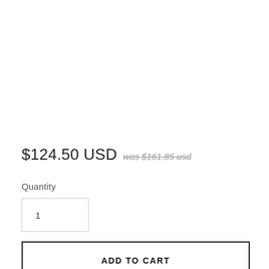$124.50 USD was $161.85 usd
Quantity
1
ADD TO CART
Give your ride that custom vintage look with this 2 piece